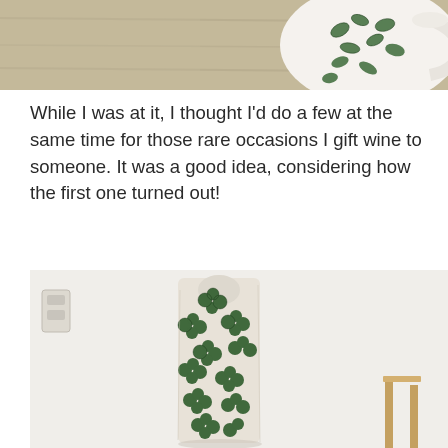[Figure (photo): Close-up photo of a white ceramic mug/plate with green floral/leaf pattern on a wooden surface]
While I was at it, I thought I'd do a few at the same time for those rare occasions I gift wine to someone. It was a good idea, considering how the first one turned out!
[Figure (photo): Photo of a wine bottle wrapped in white fabric with green floral/clover pattern, standing against a white wall, with a wooden stool/chair visible on the right]